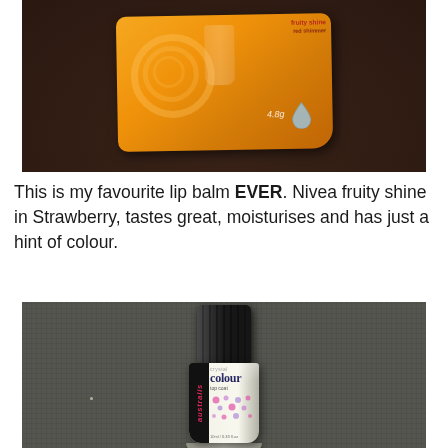[Figure (photo): Photo of a Nivea fruity shine lip balm in strawberry, orange packaging with swirl design, showing '4.8g' weight, on a dark brown fabric background]
This is my favourite lip balm EVER. Nivea fruity shine in Strawberry, tastes great, moisturises and has just a hint of colour.
[Figure (photo): Photo of an Australis Crystal Colour top coat nail polish bottle with black cap, white/clear bottle body with pink polka dot label, on a dark grey fabric background]